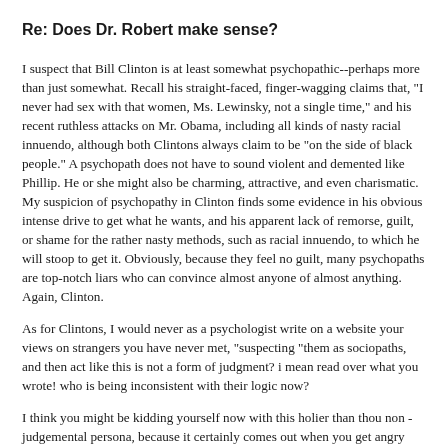Re: Does Dr. Robert make sense?
I suspect that Bill Clinton is at least somewhat psychopathic--perhaps more than just somewhat. Recall his straight-faced, finger-wagging claims that, "I never had sex with that women, Ms. Lewinsky, not a single time," and his recent ruthless attacks on Mr. Obama, including all kinds of nasty racial innuendo, although both Clintons always claim to be "on the side of black people." A psychopath does not have to sound violent and demented like Phillip. He or she might also be charming, attractive, and even charismatic. My suspicion of psychopathy in Clinton finds some evidence in his obvious intense drive to get what he wants, and his apparent lack of remorse, guilt, or shame for the rather nasty methods, such as racial innuendo, to which he will stoop to get it. Obviously, because they feel no guilt, many psychopaths are top-notch liars who can convince almost anyone of almost anything. Again, Clinton.
As for Clintons, I would never as a psychologist write on a website your views on strangers you have never met, "suspecting "them as sociopaths, and then act like this is not a form of judgment? i mean read over what you wrote! who is being inconsistent with their logic now?
I think you might be kidding yourself now with this holier than thou non - judgemental persona, because it certainly comes out when you get angry about a post you don't like.
Also you judged me by an email to be an angry fear based person,without realizing I am Greek and I am of a passionate personality, we tend to debate more in order to get to the bottom of things, a totally valid method.
I read it over and I could see how it could be construed as angry what i wrote,